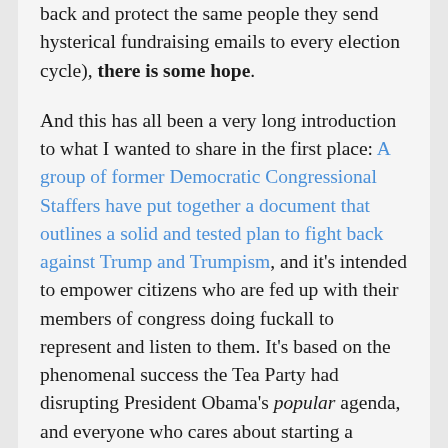back and protect the same people they send hysterical fundraising emails to every election cycle), there is some hope.

And this has all been a very long introduction to what I wanted to share in the first place: A group of former Democratic Congressional Staffers have put together a document that outlines a solid and tested plan to fight back against Trump and Trumpism, and it's intended to empower citizens who are fed up with their members of congress doing fuckall to represent and listen to them. It's based on the phenomenal success the Tea Party had disrupting President Obama's popular agenda, and everyone who cares about starting a resistance so that we don't need a rebellion, should read it and pass it around, so we can use it to disrupt and defeat Trump